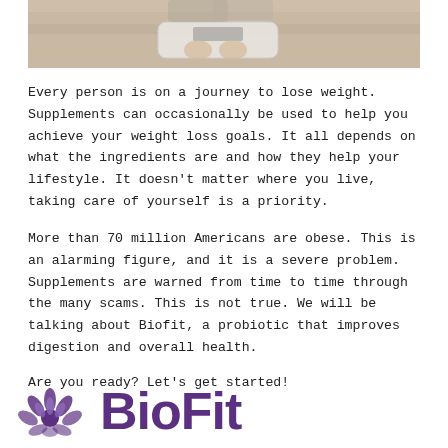[Figure (photo): A person standing on a weight scale on a wooden floor, viewed from above]
Every person is on a journey to lose weight. Supplements can occasionally be used to help you achieve your weight loss goals. It all depends on what the ingredients are and how they help your lifestyle. It doesn't matter where you live, taking care of yourself is a priority.
More than 70 million Americans are obese. This is an alarming figure, and it is a severe problem. Supplements are warned from time to time through the many scams. This is not true. We will be talking about Biofit, a probiotic that improves digestion and overall health.
Are you ready? Let's get started!
[Figure (logo): BioFit logo — purple lotus/flower icon on the left and stylized purple 'BioFit' text on the right]